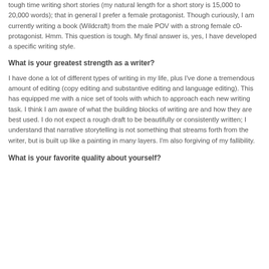tough time writing short stories (my natural length for a short story is 15,000 to 20,000 words); that in general I prefer a female protagonist. Though curiously, I am currently writing a book (Wildcraft) from the male POV with a strong female c0-protagonist. Hmm. This question is tough. My final answer is, yes, I have developed a specific writing style.
What is your greatest strength as a writer?
I have done a lot of different types of writing in my life, plus I've done a tremendous amount of editing (copy editing and substantive editing and language editing). This has equipped me with a nice set of tools with which to approach each new writing task. I think I am aware of what the building blocks of writing are and how they are best used. I do not expect a rough draft to be beautifully or consistently written; I understand that narrative storytelling is not something that streams forth from the writer, but is built up like a painting in many layers. I'm also forgiving of my fallibility.
What is your favorite quality about yourself?